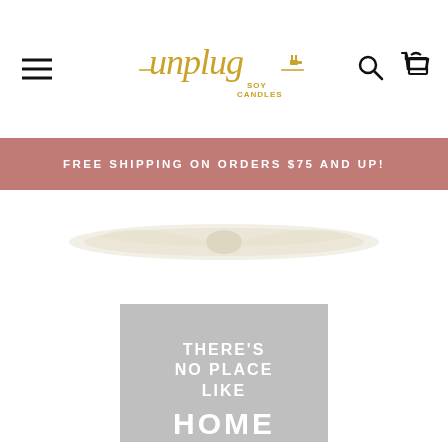[Figure (logo): Unplug Soy Candles logo in gold script with plug icon]
FREE SHIPPING ON ORDERS $75 AND UP!
[Figure (photo): Top portion of a white soy candle jar with a cream ribbon bow on top, and a gray label reading THERE'S NO PLACE LIKE HOME partially visible at the bottom]